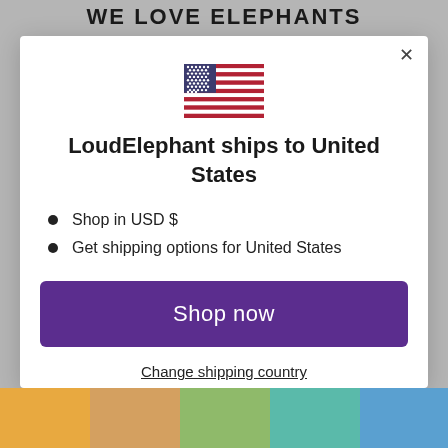WE LOVE ELEPHANTS
[Figure (illustration): US flag emoji / icon centered in modal]
LoudElephant ships to United States
Shop in USD $
Get shipping options for United States
Shop now
Change shipping country